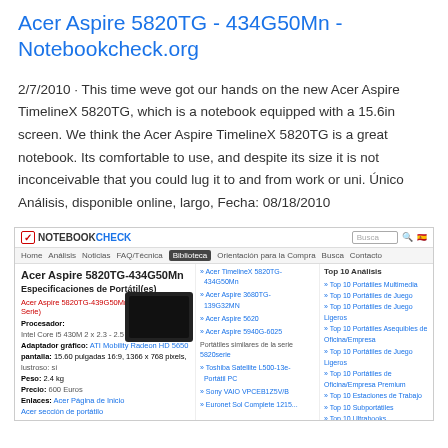Acer Aspire 5820TG - 434G50Mn - Notebookcheck.org
2/7/2010 · This time weve got our hands on the new Acer Aspire TimelineX 5820TG, which is a notebook equipped with a 15.6in screen. We think the Acer Aspire TimelineX 5820TG is a great notebook. Its comfortable to use, and despite its size it is not inconceivable that you could lug it to and from work or uni. Único Análisis, disponible online, largo, Fecha: 08/18/2010
[Figure (screenshot): Screenshot of the Notebookcheck.org website showing the Acer Aspire 5820TG-434G50Mn product page with specifications, sidebar links, and Top 10 Análisis section.]